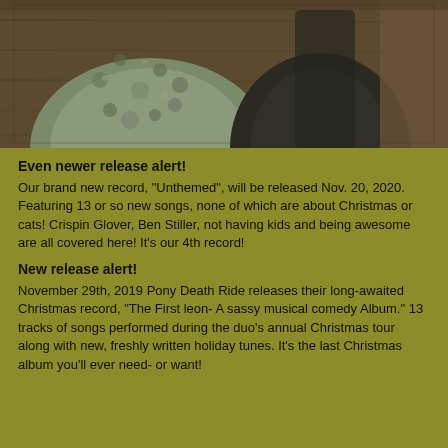[Figure (photo): Photograph showing people wearing floral/patterned clothing in front of a wooden background, cropped to show torsos]
Even newer release alert!
Our brand new record, "Unthemed", will be released Nov. 20, 2020. Featuring 13 or so new songs, none of which are about Christmas or cats! Crispin Glover, Ben Stiller, not having kids and being awesome are all covered here! It's our 4th record!
New release alert!
November 29th, 2019 Pony Death Ride releases their long-awaited Christmas record, "The First leon- A sassy musical comedy Album." 13 tracks of songs performed during the duo's annual Christmas tour along with new, freshly written holiday tunes. It's the last Christmas album you'll ever need- or want!